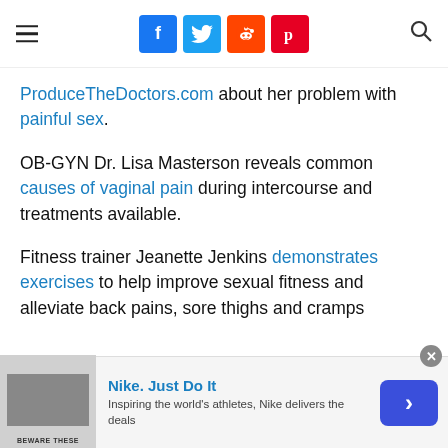Social share icons (Facebook, Twitter, Reddit, Pinterest), hamburger menu, search icon
ProduceTheDoctors.com about her problem with painful sex.
OB-GYN Dr. Lisa Masterson reveals common causes of vaginal pain during intercourse and treatments available.
Fitness trainer Jeanette Jenkins demonstrates exercises to help improve sexual fitness and alleviate back pains, sore thighs and cramps
[Figure (infographic): Advertisement bar at bottom: Nike. Just Do It — with thumbnail image, description text, and blue arrow button]